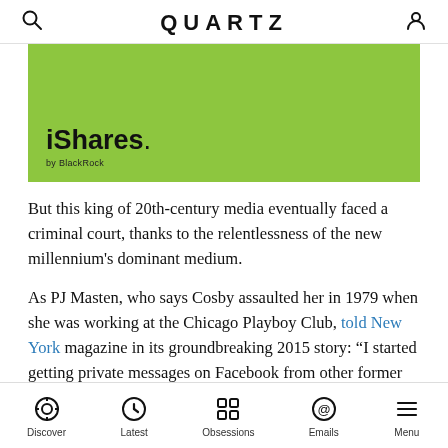QUARTZ
[Figure (illustration): iShares by BlackRock advertisement banner on green background]
But this king of 20th-century media eventually faced a criminal court, thanks to the relentlessness of the new millennium's dominant medium.
As PJ Masten, who says Cosby assaulted her in 1979 when she was working at the Chicago Playboy Club, told New York magazine in its groundbreaking 2015 story: “I started getting private messages on Facebook from other former Bunnies: ‘He did me too, PJ. He got me too.’
Discover | Latest | Obsessions | Emails | Menu